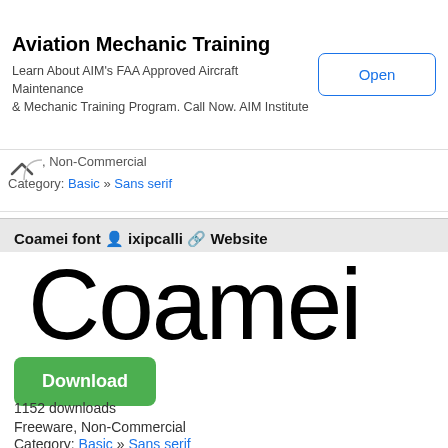[Figure (screenshot): Advertisement banner for Aviation Mechanic Training with Open button]
, Non-Commercial
Category: Basic » Sans serif
Coamei font  ixipcalli  Website
[Figure (illustration): Large text preview of 'Coamei' font in sans-serif style]
Download
1152 downloads
Freeware, Non-Commercial
Category: Basic » Sans serif